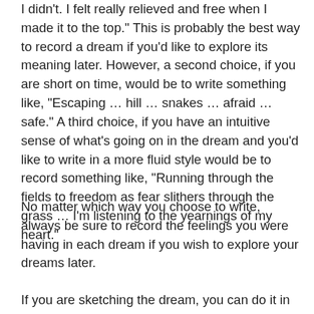I didn't. I felt really relieved and free when I made it to the top." This is probably the best way to record a dream if you'd like to explore its meaning later. However, a second choice, if you are short on time, would be to write something like, "Escaping … hill … snakes … afraid …safe." A third choice, if you have an intuitive sense of what's going on in the dream and you'd like to write in a more fluid style would be to record something like, "Running through the fields to freedom as fear slithers through the grass … I'm listening to the yearnings of my heart."
No matter which way you choose to write, always be sure to record the feelings you were having in each dream if you wish to explore your dreams later.
If you are sketching the dream, you can do it in